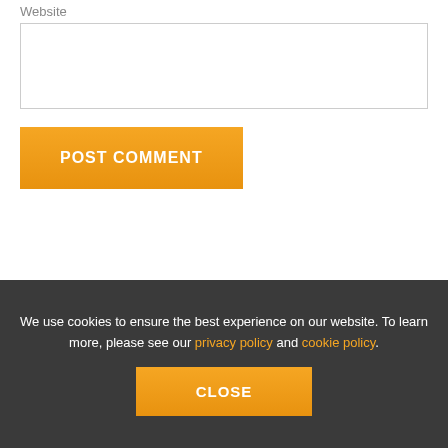Website
POST COMMENT
WELCOME
Welcome to my wellness blog. Here you will find a wide range of great articles all designed to help you lead a
We use cookies to ensure the best experience on our website. To learn more, please see our privacy policy and cookie policy.
CLOSE